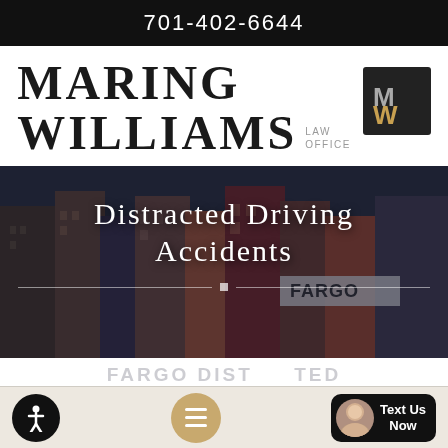701-402-6644
[Figure (logo): Maring Williams Law Office logo with MW monogram in dark box]
[Figure (photo): Hero image of city street (Fargo buildings) with dark overlay and text: Distracted Driving Accidents]
Distracted Driving Accidents
[Figure (infographic): Bottom toolbar with accessibility icon, chat button, and Text Us Now button with avatar]
FARGO DISTRACTED